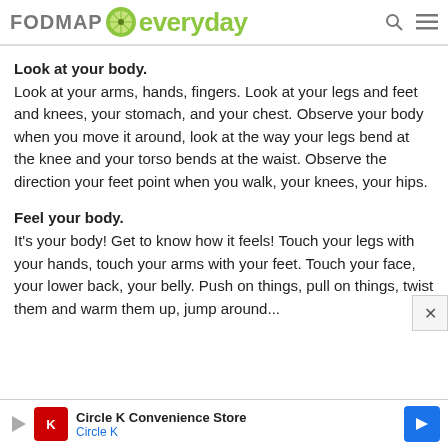FODMAP everyday
Look at your body.
Look at your arms, hands, fingers. Look at your legs and feet and knees, your stomach, and your chest. Observe your body when you move it around, look at the way your legs bend at the knee and your torso bends at the waist. Observe the direction your feet point when you walk, your knees, your hips.
Feel your body.
It's your body! Get to know how it feels! Touch your legs with your hands, touch your arms with your feet. Touch your face, your lower back, your belly. Push on things, pull on things, twist them and warm them up, jump around...